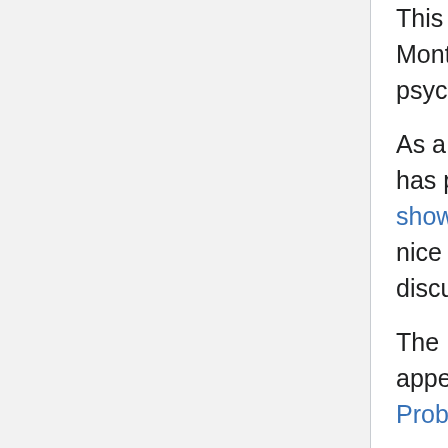This article describes an application of the infamous Monty Hall Problem to an experiment in cognitive psychology.
As a supplement, the The New York Times web site has posted an interactive simulation of the game show. Certainly not the first of its kind, but it has nice graphics, along with an intelligible, nontechnical discussion of why it makes sense to trade doors.
The Monty Hall Problem made another recent appearance on April 7 in A Numbers Guy Quiz on Probability